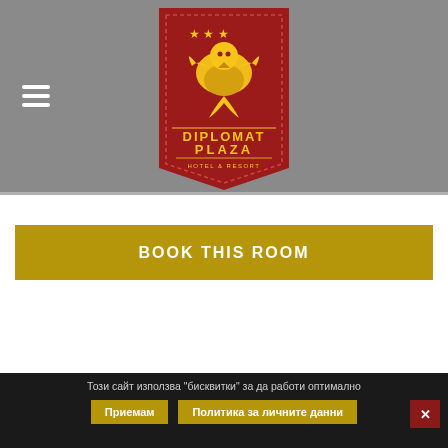[Figure (logo): Diplomat Plaza Hotel & Resort logo — red pennant banner with gold griffin and stars, gold text reading DIPLOMAT PLAZA HOTEL & RESORT]
BOOK THIS ROOM
Този сайт използва "бисквитки" за да работи оптимално
Приемам
Политика за личните данни